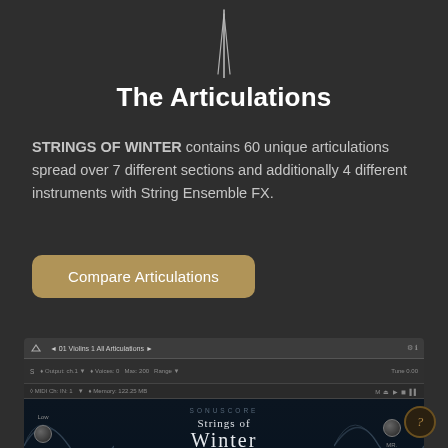[Figure (illustration): Decorative vertical lines/bars at top center of the page, resembling an audio waveform or logo mark, silver/white on dark background]
The Articulations
STRINGS OF WINTER contains 60 unique articulations spread over 7 different sections and additionally 4 different instruments with String Ensemble FX.
Compare Articulations
[Figure (screenshot): Screenshot of a Kontakt plugin interface showing 'Strings of Winter' with header bar listing '01 Violins 1 All Articulations', output and MIDI channel settings, and the main UI showing the product name with wave graphics and knob controls for Low, High, and other parameters. Bottom bar shows EQUALIZER and REVERB controls.]